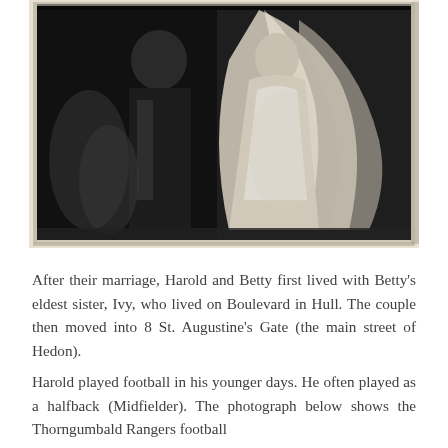[Figure (photo): Black and white vintage wedding photograph showing two figures, one in a white wedding dress/veil on the right and a darker figure on the left, against a dark background. The photo has aged edges and a white border.]
After their marriage, Harold and Betty first lived with Betty's eldest sister, Ivy, who lived on Boulevard in Hull. The couple then moved into 8 St. Augustine's Gate (the main street of Hedon).
Harold played football in his younger days. He often played as a halfback (Midfielder). The photograph below shows the Thorngumbald Rangers football